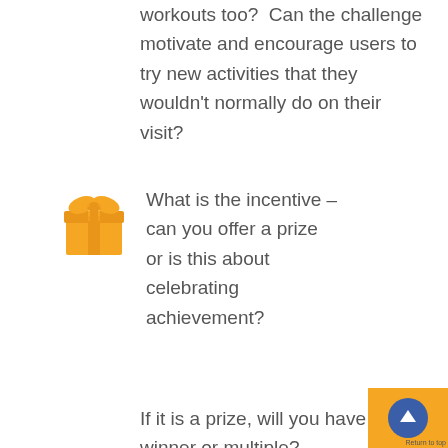workouts too?  Can the challenge motivate and encourage users to try new activities that they wouldn't normally do on their visit?
[Figure (illustration): Orange gift box icon with ribbon and bow on top]
What is the incentive – can you offer a prize or is this about celebrating achievement?
If it is a prize, will you have a single winner or multiple?